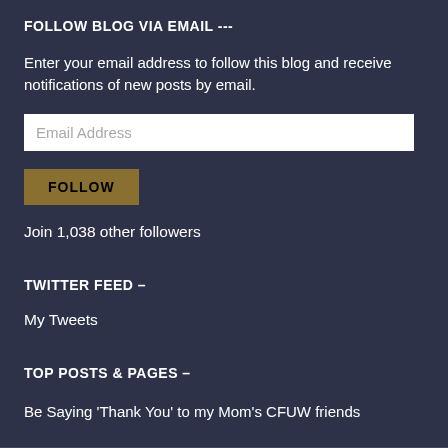FOLLOW BLOG VIA EMAIL ---
Enter your email address to follow this blog and receive notifications of new posts by email.
Email Address
FOLLOW
Join 1,038 other followers
TWITTER FEED –
My Tweets
TOP POSTS & PAGES –
Be Saying 'Thank You' to my Mom's CFUW friends